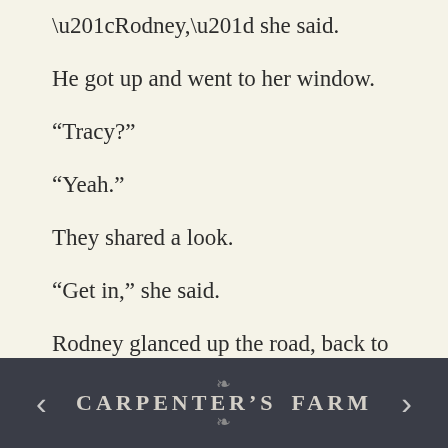“Rodney,” she said.
He got up and went to her window.
“Tracy?”
“Yeah.”
They shared a look.
“Get in,” she said.
Rodney glanced up the road, back to Oliver’s farm.
CARPENTER’S FARM